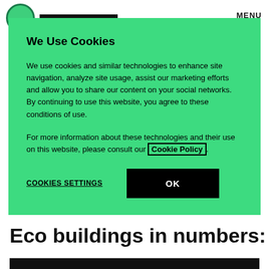MENU
We Use Cookies
We use cookies and similar technologies to enhance site navigation, analyze site usage, assist our marketing efforts and allow you to share our content on your social networks. By continuing to use this website, you agree to these conditions of use.
For more information about these technologies and their use on this website, please consult our Cookie Policy.
COOKIES SETTINGS
OK
Eco buildings in numbers: